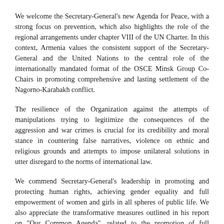We welcome the Secretary-General's new Agenda for Peace, with a strong focus on prevention, which also highlights the role of the regional arrangements under chapter VIII of the UN Charter. In this context, Armenia values the consistent support of the Secretary-General and the United Nations to the central role of the internationally mandated format of the OSCE Minsk Group Co-Chairs in promoting comprehensive and lasting settlement of the Nagorno-Karabakh conflict.
The resilience of the Organization against the attempts of manipulations trying to legitimize the consequences of the aggression and war crimes is crucial for its credibility and moral stance in countering false narratives, violence on ethnic and religious grounds and attempts to impose unilateral solutions in utter disregard to the norms of international law.
We commend Secretary-General's leadership in promoting and protecting human rights, achieving gender equality and full empowerment of women and girls in all spheres of public life. We also appreciate the transformative measures outlined in his report on "Our Common Agenda", related to the promotion of full realization of women's rights and gender parity, facilitating women's economic inclusion and eradication of violence against women and girls.